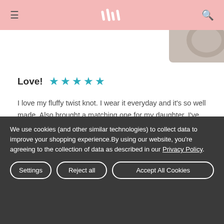mh (logo)
[Figure (photo): Partial product image visible in top right corner]
Love! ★★★★★
I love my fluffy twist knot. I wear it everyday and it's so well made. Also brought a matching one for my daughter. I've received so many nice comments from people when I wear it too.
WRITTEN BY KATHERINE K. ON MAR 03, 2022
We use cookies (and other similar technologies) to collect data to improve your shopping experience.By using our website, you're agreeing to the collection of data as described in our Privacy Policy.
Settings
Reject all
Accept All Cookies